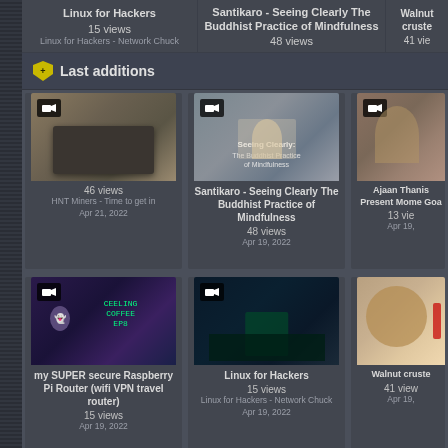Linux for Hackers
15 views
Linux for Hackers - Network Chuck
Santikaro - Seeing Clearly The Buddhist Practice of Mindfulness
48 views
Walnut cruste
41 view
Last additions
[Figure (screenshot): Video thumbnail: HNT Miners device on windowsill]
46 views
HNT Miners - Time to get in
Apr 21, 2022
[Figure (screenshot): Video thumbnail: Santikaro - Seeing Clearly The Buddhist Practice of Mindfulness]
Santikaro - Seeing Clearly The Buddhist Practice of Mindfulness
48 views
Apr 19, 2022
[Figure (screenshot): Video thumbnail: Ajaan Thanissaro - Present Moment Goals]
Ajaan Thanis Present Mome Goa
13 vie
Apr 19,
[Figure (screenshot): Video thumbnail: my SUPER secure Raspberry Pi Router (wifi VPN travel router)]
my SUPER secure Raspberry Pi Router (wifi VPN travel router)
15 views
Apr 19, 2022
[Figure (screenshot): Video thumbnail: Linux for Hackers city night scene]
Linux for Hackers
15 views
Linux for Hackers - Network Chuck
Apr 19, 2022
[Figure (photo): Video thumbnail: Walnut crusted dish]
Walnut cruste
41 view
Apr 19,